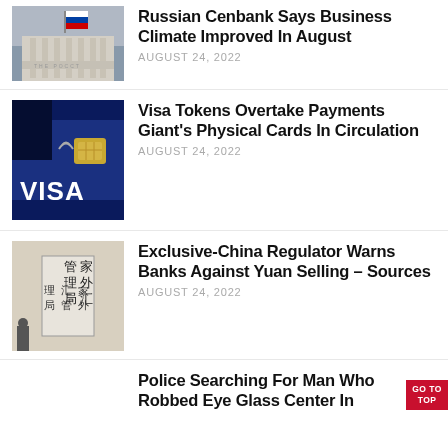[Figure (photo): Russian central bank building with Russian flag on top, grey sky background]
Russian Cenbank Says Business Climate Improved In August
AUGUST 24, 2022
[Figure (photo): Visa credit card close-up on dark blue background showing Visa logo and chip]
Visa Tokens Overtake Payments Giant’s Physical Cards In Circulation
AUGUST 24, 2022
[Figure (photo): Chinese sign on building exterior reading 家外汇管理局 (State Administration of Foreign Exchange)]
Exclusive-China Regulator Warns Banks Against Yuan Selling – Sources
AUGUST 24, 2022
Police Searching For Man Who Robbed Eye Glass Center In